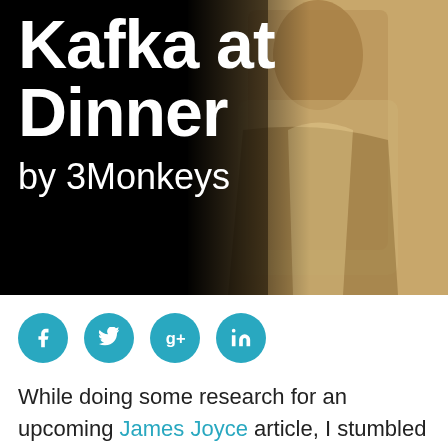[Figure (photo): Hero image with large white bold text 'Kafka at Dinner by 3Monkeys' overlaid on a dark background, with a sepia-toned vintage photograph of a man on the right side.]
[Figure (infographic): Social sharing buttons: Facebook (f), Twitter (bird), Google+ (g+), LinkedIn (in) — teal circular icons in a row.]
While doing some research for an upcoming James Joyce article, I stumbled across this great piece by Geoffrey Eugenides (The Marriage Plot, Middlesex, and The Virgin